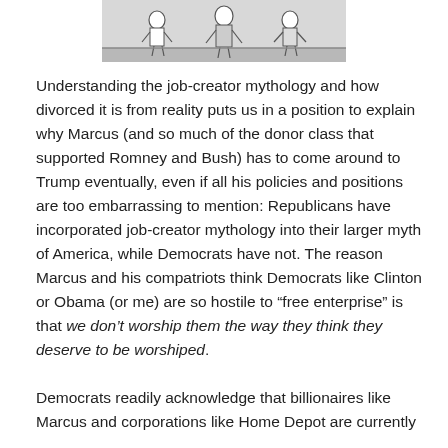[Figure (illustration): Black and white illustration showing group of people standing together, partial view cropped at top of page]
Understanding the job-creator mythology and how divorced it is from reality puts us in a position to explain why Marcus (and so much of the donor class that supported Romney and Bush) has to come around to Trump eventually, even if all his policies and positions are too embarrassing to mention: Republicans have incorporated job-creator mythology into their larger myth of America, while Democrats have not. The reason Marcus and his compatriots think Democrats like Clinton or Obama (or me) are so hostile to “free enterprise” is that we don’t worship them the way they think they deserve to be worshiped.
Democrats readily acknowledge that billionaires like Marcus and corporations like Home Depot are currently